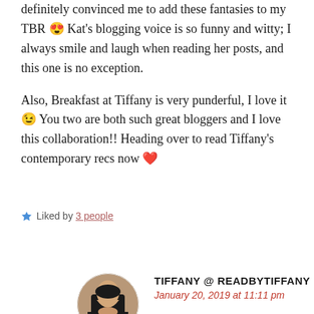definitely convinced me to add these fantasies to my TBR 😍 Kat's blogging voice is so funny and witty; I always smile and laugh when reading her posts, and this one is no exception.

Also, Breakfast at Tiffany is very punderful, I love it 😉 You two are both such great bloggers and I love this collaboration!! Heading over to read Tiffany's contemporary recs now ❤️
★ Liked by 3 people
REPLY
TIFFANY @ READBYTIFFANY
January 20, 2019 at 11:11 pm